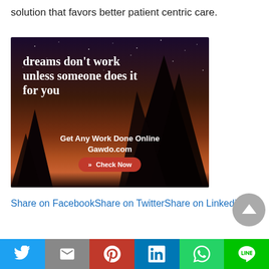solution that favors better patient centric care.
[Figure (photo): Advertisement image with night sky background showing trees silhouetted against a gradient sunset/night sky. Text reads: 'dreams don't work unless someone does it for you' with 'Get Any Work Done Online Gawdo.com' and a 'Check Now' button.]
Share on FacebookShare on TwitterShare on Linkedin